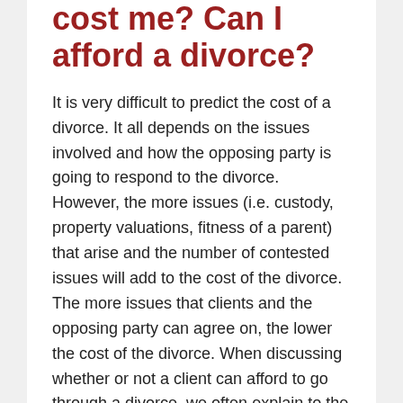cost me? Can I afford a divorce?
It is very difficult to predict the cost of a divorce. It all depends on the issues involved and how the opposing party is going to respond to the divorce. However, the more issues (i.e. custody, property valuations, fitness of a parent) that arise and the number of contested issues will add to the cost of the divorce. The more issues that clients and the opposing party can agree on, the lower the cost of the divorce. When discussing whether or not a client can afford to go through a divorce, we often explain to the client that there are Read more ›
Last Updated: 9 years ago
What are grounds for